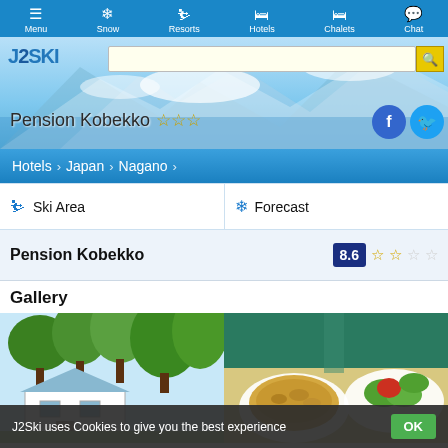Menu | Snow | Resorts | Hotels | Chalets | Chat
[Figure (screenshot): J2Ski website header with logo, search bar, mountain background, hotel name 'Pension Kobekko' with 3 stars, Facebook and Twitter social buttons]
Hotels > Japan > Nagano
Ski Area
Forecast
Pension Kobekko
8.6 ★★☆☆☆
Gallery
[Figure (photo): Two gallery photos side by side: left shows a building exterior with trees, right shows food/dishes]
J2Ski uses Cookies to give you the best experience  OK